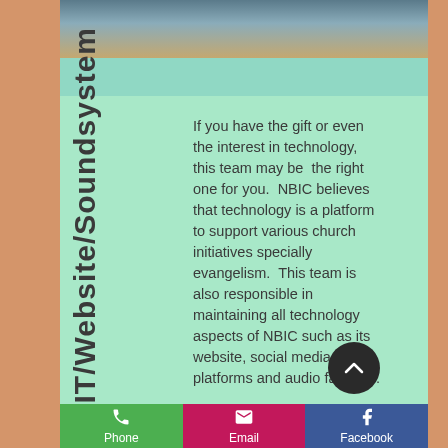[Figure (photo): Top image strip showing church scene with teal and warm tones]
IT/Website/Soundsystem
If you have the gift or even the interest in technology, this team may be the right one for you. NBIC believes that technology is a platform to support various church initiatives specially evangelism. This team is also responsible in maintaining all technology aspects of NBIC such as its website, social media platforms and audio facilities.
Phone | Email | Facebook